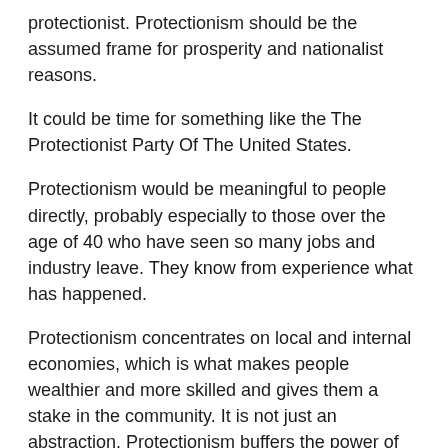protectionist. Protectionism should be the assumed frame for prosperity and nationalist reasons.
It could be time for something like the The Protectionist Party Of The United States.
Protectionism would be meaningful to people directly, probably especially to those over the age of 40 who have seen so many jobs and industry leave. They know from experience what has happened.
Protectionism concentrates on local and internal economies, which is what makes people wealthier and more skilled and gives them a stake in the community. It is not just an abstraction. Protectionism buffers the power of centralized banker–government collusion, and ensure real jobs with real production value.
The principle of protectionism could apply on a larger scale as well: Not only does it help with the economy, it also applies to culture, heritage, and ethnicity.